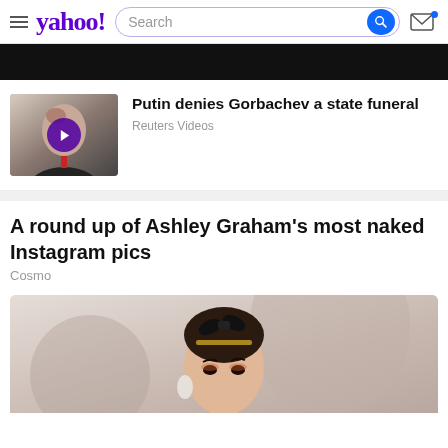yahoo! Search
[Figure (screenshot): Black navigation bar]
[Figure (photo): Video thumbnail of Gorbachev with play button overlay]
Putin denies Gorbachev a state funeral
Reuters Videos
A round up of Ashley Graham's most naked Instagram pics
Cosmo
[Figure (photo): Photo of a woman with hair up and black bow, wearing earrings]